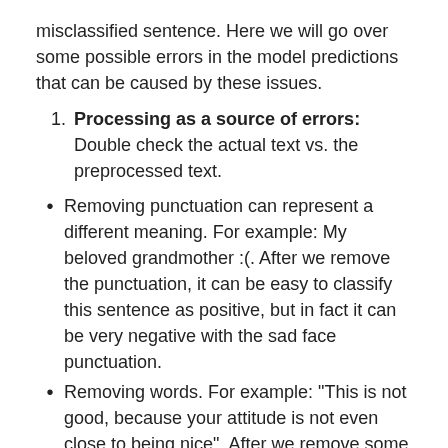misclassified sentence. Here we will go over some possible errors in the model predictions that can be caused by these issues.
Processing as a source of errors: Double check the actual text vs. the preprocessed text.
Removing punctuation can represent a different meaning. For example: My beloved grandmother :(. After we remove the punctuation, it can be easy to classify this sentence as positive, but in fact it can be very negative with the sad face punctuation.
Removing words. For example: "This is not good, because your attitude is not even close to being nice". After we remove some stop words, the sentence can be preprocessed as [good, attitude, close, nice] and be easily classified as positive. But